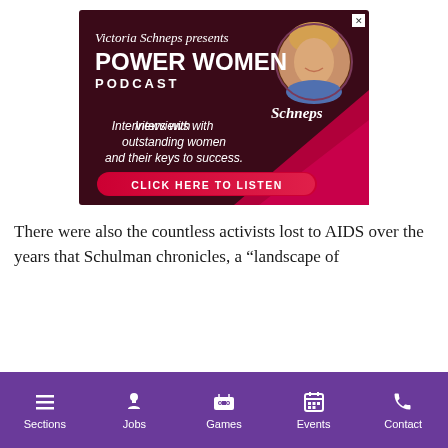[Figure (advertisement): Advertisement for Victoria Schneps presents Power Women Podcast. Dark maroon background with photo of blonde woman. Text reads: Victoria Schneps presents POWER WOMEN PODCAST. Interviews with outstanding women and their keys to success. CLICK HERE TO LISTEN.]
There were also the countless activists lost to AIDS over the years that Schulman chronicles, a “landscape of
Sections  Jobs  Games  Events  Contact